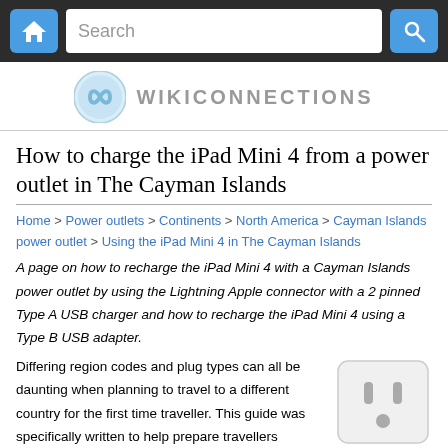Search
[Figure (logo): WikiConnections logo — circular icon with infinity-like symbol and text WIKICONNECTIONS]
How to charge the iPad Mini 4 from a power outlet in The Cayman Islands
Home > Power outlets > Continents > North America > Cayman Islands power outlet > Using the iPad Mini 4 in The Cayman Islands
A page on how to recharge the iPad Mini 4 with a Cayman Islands power outlet by using the Lightning Apple connector with a 2 pinned Type A USB charger and how to recharge the iPad Mini 4 using a Type B USB adapter.
Differing region codes and plug types can all be daunting when planning to travel to a different country for the first time traveller. This guide was specifically written to help prepare travellers wanting to charge
[Figure (illustration): Power outlet illustration — white rectangular socket with two vertical slots and a ground pin, resembling a North American Type A outlet]